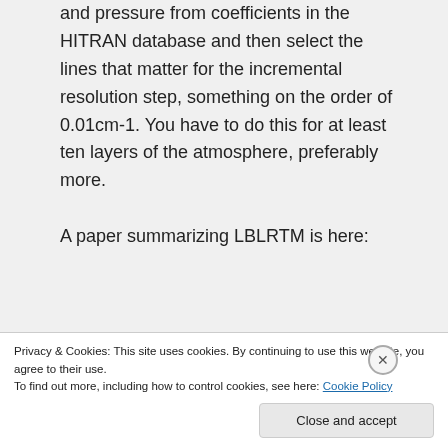and pressure from coefficients in the HITRAN database and then select the lines that matter for the incremental resolution step, something on the order of 0.01cm-1. You have to do this for at least ten layers of the atmosphere, preferably more.

A paper summarizing LBLRTM is here:
Privacy & Cookies: This site uses cookies. By continuing to use this website, you agree to their use. To find out more, including how to control cookies, see here: Cookie Policy